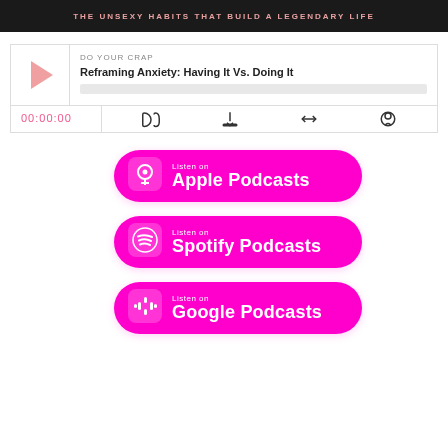[Figure (screenshot): Dark banner at top with text: THE UNSEXY HABITS THAT BUILD A LEGENDARY LIFE]
[Figure (screenshot): Podcast player widget showing episode 'Reframing Anxiety: Having It Vs. Doing It' from DO YOUR CRAP podcast, with play button, progress bar, time display 00:00:00 and control icons]
[Figure (logo): Apple Podcasts badge - magenta/pink rounded rectangle with Apple Podcasts logo and text 'Listen on Apple Podcasts']
[Figure (logo): Spotify Podcasts badge - magenta/pink rounded rectangle with Spotify logo and text 'Listen on Spotify Podcasts']
[Figure (logo): Google Podcasts badge - magenta/pink rounded rectangle with Google Podcasts logo and text 'Listen on Google Podcasts']